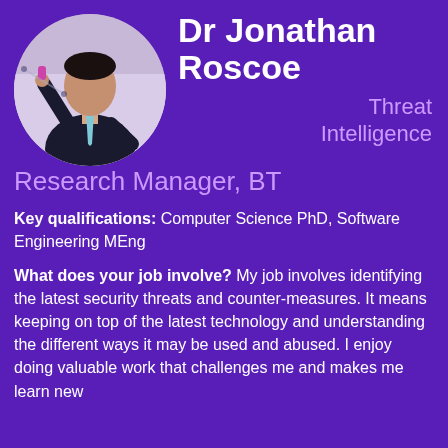[Figure (photo): Circular cropped photo of Dr Jonathan Roscoe, a man in a dark suit with a light blue tie, appearing to be presenting or teaching, holding something up, with a whiteboard or wall behind him.]
Dr Jonathan Roscoe
Threat Intelligence Research Manager, BT
Key qualifications: Computer Science PhD, Software Engineering MEng
What does your job involve? My job involves identifying the latest security threats and counter-measures. It means keeping on top of the latest technology and understanding the different ways it may be used and abused. I enjoy doing valuable work that challenges me and makes me learn new